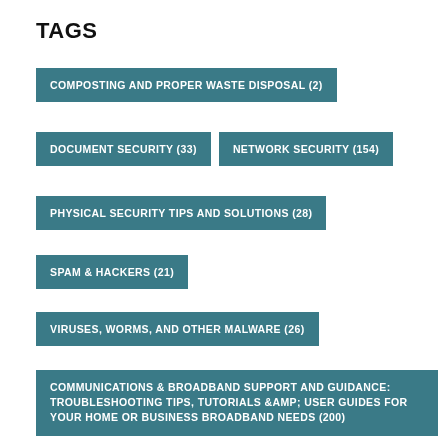TAGS
COMPOSTING AND PROPER WASTE DISPOSAL (2)
DOCUMENT SECURITY (33)
NETWORK SECURITY (154)
PHYSICAL SECURITY TIPS AND SOLUTIONS (28)
SPAM & HACKERS (21)
VIRUSES, WORMS, AND OTHER MALWARE (26)
COMMUNICATIONS & BROADBAND SUPPORT AND GUIDANCE: TROUBLESHOOTING TIPS, TUTORIALS &AMP; USER GUIDES FOR YOUR HOME OR BUSINESS BROADBAND NEEDS (200)
COMPUTER HARDWARE GADGETS: THE BEST NEW GADGETS FOR YOUR PC OR DESKTOP ENVIRONMENT (65)